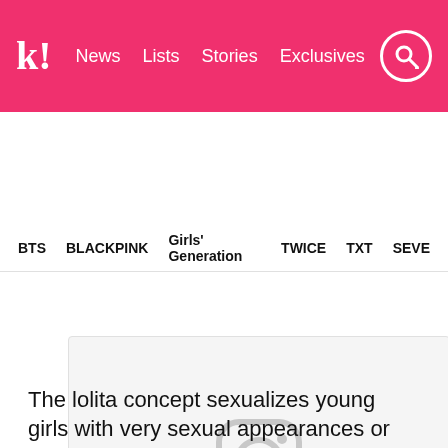k! News  Lists  Stories  Exclusives
BTS  BLACKPINK  Girls' Generation  TWICE  TXT  SEVE…
[Figure (screenshot): Embedded Instagram post placeholder showing Instagram camera icon on grey background with caption: A post shared by 민이 (@mintyarin) on Feb 19, 2018 at 5:01a...]
The lolita concept sexualizes young girls with very sexual appearances or behaviors.